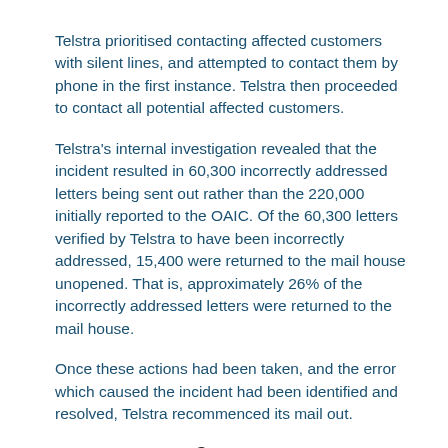Telstra prioritised contacting affected customers with silent lines, and attempted to contact them by phone in the first instance. Telstra then proceeded to contact all potential affected customers.
Telstra's internal investigation revealed that the incident resulted in 60,300 incorrectly addressed letters being sent out rather than the 220,000 initially reported to the OAIC. Of the 60,300 letters verified by Telstra to have been incorrectly addressed, 15,400 were returned to the mail house unopened. That is, approximately 26% of the incorrectly addressed letters were returned to the mail house.
Once these actions had been taken, and the error which caused the incident had been identified and resolved, Telstra recommenced its mail out.
Contents